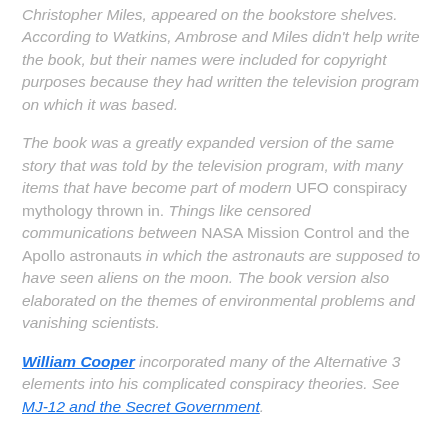Christopher Miles, appeared on the bookstore shelves. According to Watkins, Ambrose and Miles didn't help write the book, but their names were included for copyright purposes because they had written the television program on which it was based.
The book was a greatly expanded version of the same story that was told by the television program, with many items that have become part of modern UFO conspiracy mythology thrown in. Things like censored communications between NASA Mission Control and the Apollo astronauts in which the astronauts are supposed to have seen aliens on the moon. The book version also elaborated on the themes of environmental problems and vanishing scientists.
William Cooper incorporated many of the Alternative 3 elements into his complicated conspiracy theories. See MJ-12 and the Secret Government.